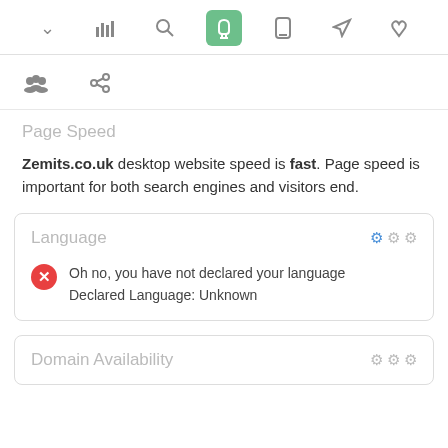[Figure (screenshot): Top toolbar with navigation icons: up arrow, bar chart, search, pointer/hand (active, green background), mobile, send/rocket, thumbs up]
[Figure (screenshot): Second toolbar row with people icon and link icon]
Page Speed
Zemits.co.uk desktop website speed is fast. Page speed is important for both search engines and visitors end.
Language
Oh no, you have not declared your language
Declared Language: Unknown
Domain Availability